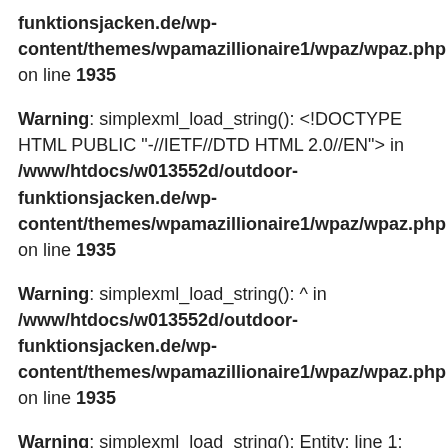funktionsjacken.de/wp-content/themes/wpamazillionaire1/wpaz/wpaz.php on line 1935
Warning: simplexml_load_string(): <!DOCTYPE HTML PUBLIC "-//IETF//DTD HTML 2.0//EN"> in /www/htdocs/w013552d/outdoor-funktionsjacken.de/wp-content/themes/wpamazillionaire1/wpaz/wpaz.php on line 1935
Warning: simplexml_load_string(): ^ in /www/htdocs/w013552d/outdoor-funktionsjacken.de/wp-content/themes/wpamazillionaire1/wpaz/wpaz.php on line 1935
Warning: simplexml_load_string(): Entity: line 1: parser error : SYSTEM or PUBLIC, the URI is missing in /www/htdocs/w013552d/outdoor-